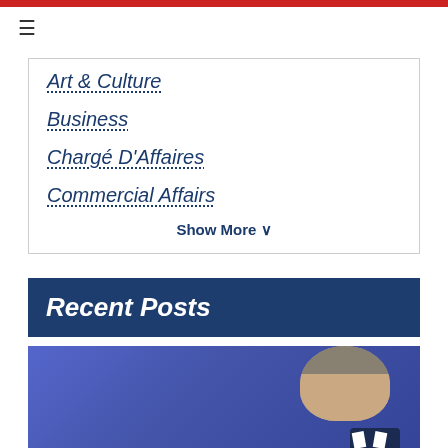Art & Culture
Business
Chargé D'Affaires
Commercial Affairs
Show More V
Recent Posts
[Figure (photo): Photo of a man, likely a politician or official, against a blue/purple background. The man has grey hair and is wearing a dark suit with white collar.]